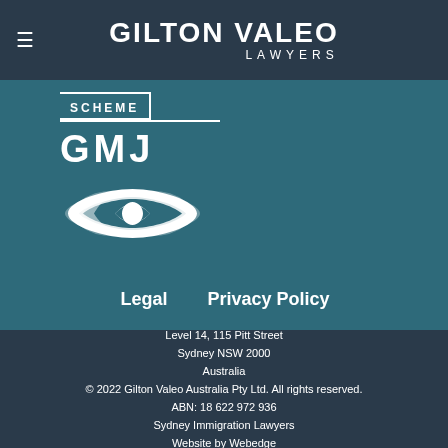GILTON VALEO LAWYERS
[Figure (logo): Scheme logo with text SCHEME, GMJ text, and infinity symbol on teal background]
Legal    Privacy Policy
Level 14, 115 Pitt Street
Sydney NSW 2000
Australia
© 2022 Gilton Valeo Australia Pty Ltd. All rights reserved.
ABN: 18 622 972 936
Sydney Immigration Lawyers
Website by Webedge